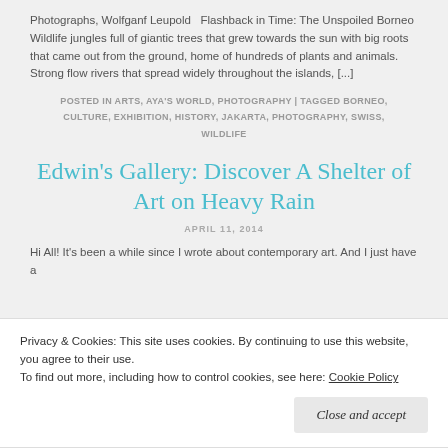Photographs, Wolfganf Leupold   Flashback in Time: The Unspoiled Borneo Wildlife jungles full of giantic trees that grew towards the sun with big roots that came out from the ground, home of hundreds of plants and animals. Strong flow rivers that spread widely throughout the islands, [...]
POSTED IN ARTS, AYA'S WORLD, PHOTOGRAPHY | TAGGED BORNEO, CULTURE, EXHIBITION, HISTORY, JAKARTA, PHOTOGRAPHY, SWISS, WILDLIFE
Edwin's Gallery: Discover A Shelter of Art on Heavy Rain
APRIL 11, 2014
Hi All! It's been a while since I wrote about contemporary art. And I just have a
Privacy & Cookies: This site uses cookies. By continuing to use this website, you agree to their use.
To find out more, including how to control cookies, see here: Cookie Policy
Close and accept